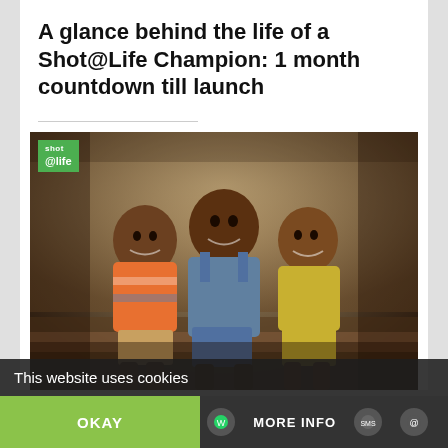A glance behind the life of a Shot@Life Champion: 1 month countdown till launch
[Figure (photo): Three young children sitting together and smiling, with a Shot@Life logo badge in the top-left corner of the image]
This website uses cookies
OKAY
MORE INFO